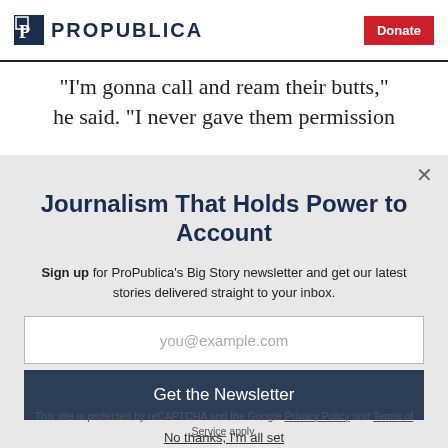ProPublica | Donate
"I'm gonna call and ream their butts," he said. "I never gave them permission
Journalism That Holds Power to Account
Sign up for ProPublica's Big Story newsletter and get our latest stories delivered straight to your inbox.
you@example.com
Get the Newsletter
No thanks, I'm all set
This site is protected by reCAPTCHA and the Google Privacy Policy and Terms of Service apply.